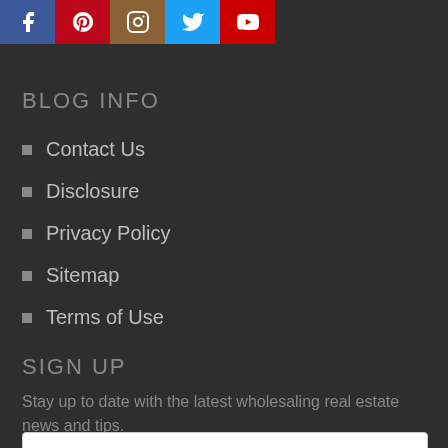[Figure (other): Row of 5 social media icons: Facebook (blue), Pinterest (red), Instagram (brown), Twitter (light blue), YouTube (red)]
BLOG INFO
Contact Us
Disclosure
Privacy Policy
Sitemap
Terms of Use
SIGN UP
Stay up to date with the latest wholesaling real estate news and tips.
Your email address